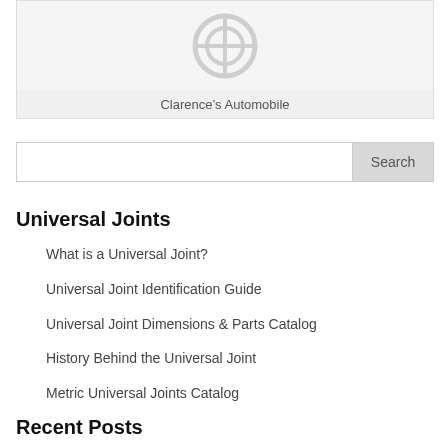[Figure (logo): Partial logo or emblem image in a white/light gray box]
Clarence’s Automobile
Search
Universal Joints
What is a Universal Joint?
Universal Joint Identification Guide
Universal Joint Dimensions & Parts Catalog
History Behind the Universal Joint
Metric Universal Joints Catalog
Recent Posts